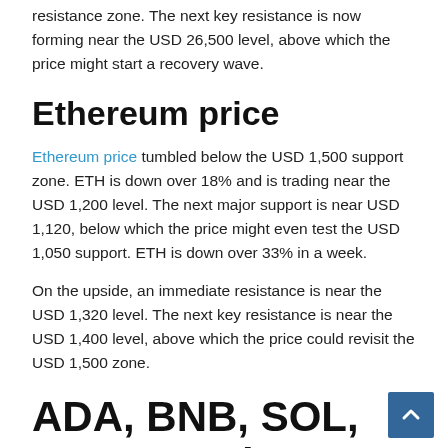resistance zone. The next key resistance is now forming near the USD 26,500 level, above which the price might start a recovery wave.
Ethereum price
Ethereum price tumbled below the USD 1,500 support zone. ETH is down over 18% and is trading near the USD 1,200 level. The next major support is near USD 1,120, below which the price might even test the USD 1,050 support. ETH is down over 33% in a week.
On the upside, an immediate resistance is near the USD 1,320 level. The next key resistance is near the USD 1,400 level, above which the price could revisit the USD 1,500 zone.
ADA, BNB, SOL, DOGE, and XRP price